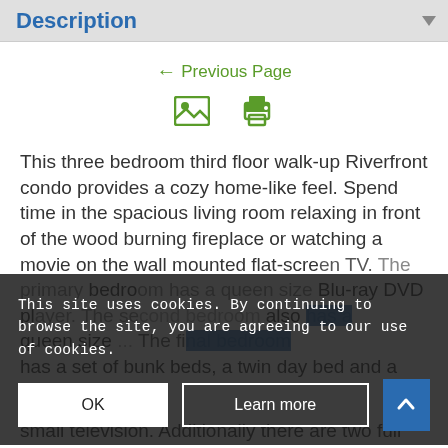Description
← Previous Page
[Figure (screenshot): Two green icons: an image/photo icon and a print icon]
This three bedroom third floor walk-up Riverfront condo provides a cozy home-like feel. Spend time in the spacious living room relaxing in front of the wood burning fireplace or watching a movie on the wall mounted flat-screen TV. The primary bedroom has a king size bed, a very bedroom ... Blu-ray DVD player. The second bedroom also has a queen size ... The final bedroom has a set of bunk beds, a twin day bed and a small television. Additionally there are two full
This site uses cookies. By continuing to browse the site, you are agreeing to our use of cookies.
OK
Learn more